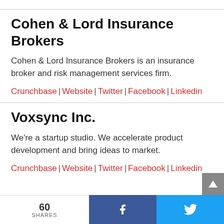Cohen & Lord Insurance Brokers
Cohen & Lord Insurance Brokers is an insurance broker and risk management services firm.
Crunchbase | Website | Twitter | Facebook | Linkedin
Voxsync Inc.
We're a startup studio. We accelerate product development and bring ideas to market.
Crunchbase | Website | Twitter | Facebook | Linkedin
60 SHARES